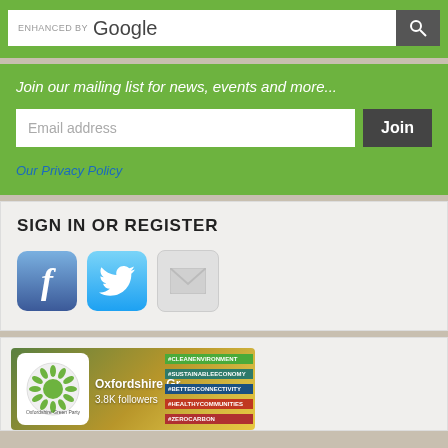[Figure (screenshot): Google search bar with 'ENHANCED BY Google' label and search button]
Join our mailing list for news, events and more...
Email address
Join
Our Privacy Policy
SIGN IN OR REGISTER
[Figure (screenshot): Social login icons: Facebook, Twitter, and email/envelope]
[Figure (screenshot): Oxfordshire Green Party Twitter/social media widget showing 'Oxfordshire Gr...', 3.8K followers, and hashtags: #CLEANENVIRONMENT, #SUSTAINABLEECONOMY, #BETTERCONNECTIVITY, #HEALTHYCOMMUNITIES, #ZEROCARBON]